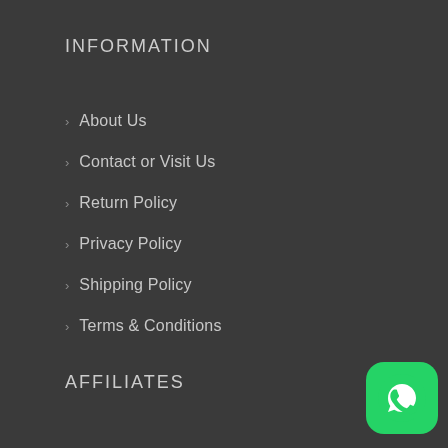INFORMATION
About Us
Contact or Visit Us
Return Policy
Privacy Policy
Shipping Policy
Terms & Conditions
AFFILIATES
maps-prints.com
eastindies.art
indonesiaexpat.biz
1stdibs.com
…